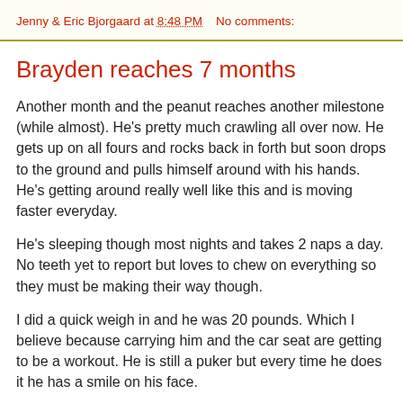Jenny & Eric Bjorgaard at 8:48 PM    No comments:
Brayden reaches 7 months
Another month and the peanut reaches another milestone (while almost). He's pretty much crawling all over now. He gets up on all fours and rocks back in forth but soon drops to the ground and pulls himself around with his hands. He's getting around really well like this and is moving faster everyday.
He's sleeping though most nights and takes 2 naps a day. No teeth yet to report but loves to chew on everything so they must be making their way though.
I did a quick weigh in and he was 20 pounds. Which I believe because carrying him and the car seat are getting to be a workout. He is still a puker but every time he does it he has a smile on his face.